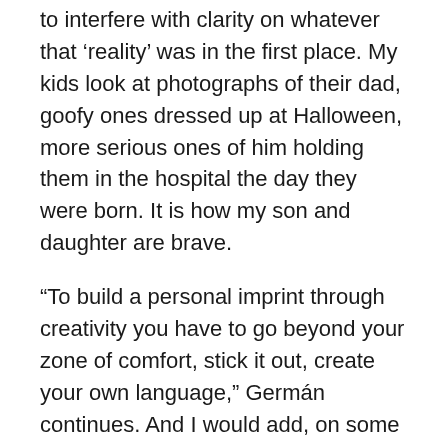to interfere with clarity on whatever that ‘reality’ was in the first place. My kids look at photographs of their dad, goofy ones dressed up at Halloween, more serious ones of him holding them in the hospital the day they were born. It is how my son and daughter are brave.
“To build a personal imprint through creativity you have to go beyond your zone of comfort, stick it out, create your own language,” Germán continues. And I would add, on some fundamental level, at least in my family, this individual vernacular becomes essential to survival, collapses time, takes us back to the moment held in the frame, and directs a spray of light to those corners in ourselves that darken from time to time.